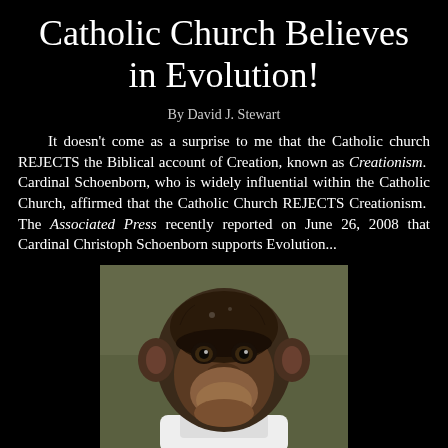Catholic Church Believes in Evolution!
By David J. Stewart
It doesn't come as a surprise to me that the Catholic church REJECTS the Biblical account of Creation, known as Creationism.  Cardinal Schoenborn, who is widely influential within the Catholic Church, affirmed that the Catholic Church REJECTS Creationism.  The Associated Press recently reported on June 26, 2008 that Cardinal Christoph Schoenborn supports Evolution...
[Figure (photo): Close-up photograph of a chimpanzee face looking upward, with blurred background]